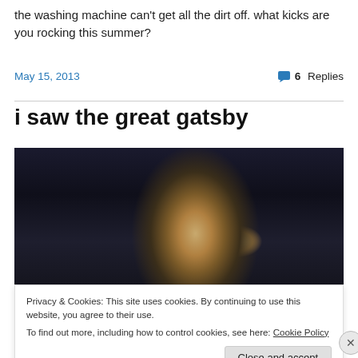the washing machine can't get all the dirt off.  what kicks are you rocking this summer?
May 15, 2013
6 Replies
i saw the great gatsby
[Figure (photo): A man with blonde hair holding a glass, from The Great Gatsby movie, against a dark background]
Privacy & Cookies: This site uses cookies. By continuing to use this website, you agree to their use.
To find out more, including how to control cookies, see here: Cookie Policy